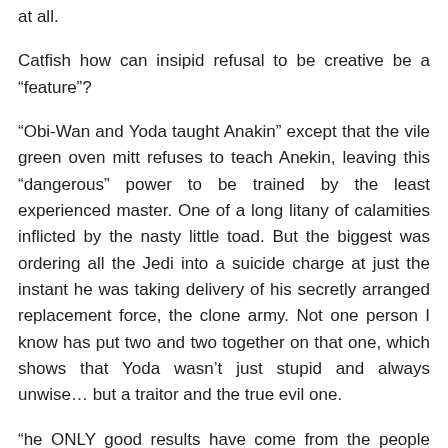at all.
Catfish how can insipid refusal to be creative be a “feature”?
“Obi-Wan and Yoda taught Anakin” except that the vile green oven mitt refuses to teach Anekin, leaving this “dangerous” power to be trained by the least experienced master. One of a long litany of calamities inflicted by the nasty little toad. But the biggest was ordering all the Jedi into a suicide charge at just the instant he was taking delivery of his secretly arranged replacement force, the clone army. Not one person I know has put two and two together on that one, which shows that Yoda wasn’t just stupid and always unwise… but a traitor and the true evil one.
“he ONLY good results have come from the people willing to buck the system” Exactly! I expected Luke to spread the Force around. Op[en Jedi Arts studios in strip malls all over the galaxy.
But the Always Tosk…